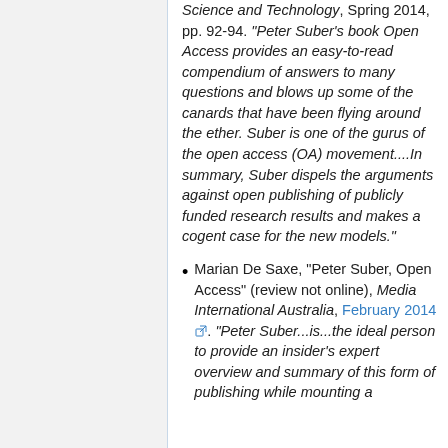Science and Technology, Spring 2014, pp. 92-94. "Peter Suber's book Open Access provides an easy-to-read compendium of answers to many questions and blows up some of the canards that have been flying around the ether. Suber is one of the gurus of the open access (OA) movement....In summary, Suber dispels the arguments against open publishing of publicly funded research results and makes a cogent case for the new models."
Marian De Saxe, "Peter Suber, Open Access" (review not online), Media International Australia, February 2014. "Peter Suber...is...the ideal person to provide an insider's expert overview and summary of this form of publishing while mounting a